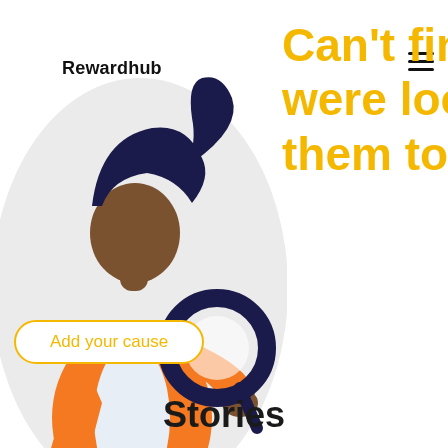Rewardhub
[Figure (illustration): Illustration of a woman with dark hair wearing an orange jacket, holding a large magnifying glass, set against a light grey circle background]
Can't fin were loo them to
Add your cause
Stories